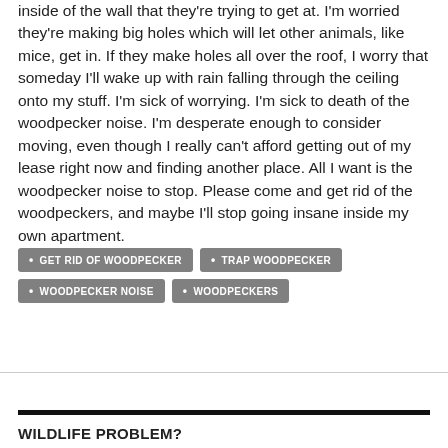inside of the wall that they're trying to get at. I'm worried they're making big holes which will let other animals, like mice, get in. If they make holes all over the roof, I worry that someday I'll wake up with rain falling through the ceiling onto my stuff. I'm sick of worrying. I'm sick to death of the woodpecker noise. I'm desperate enough to consider moving, even though I really can't afford getting out of my lease right now and finding another place. All I want is the woodpecker noise to stop. Please come and get rid of the woodpeckers, and maybe I'll stop going insane inside my own apartment.
GET RID OF WOODPECKER
TRAP WOODPECKER
WOODPECKER NOISE
WOODPECKERS
WILDLIFE PROBLEM?